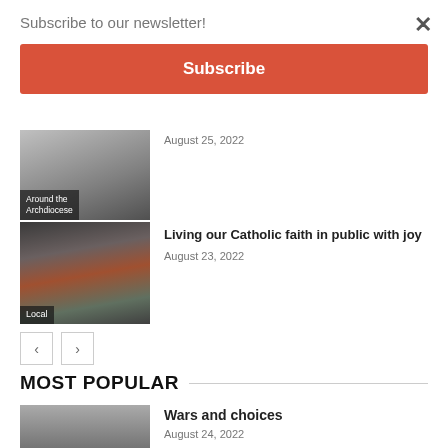Subscribe to our newsletter!
Subscribe
×
August 25, 2022
Around the Archdiocese
Living our Catholic faith in public with joy
August 23, 2022
Local
MOST POPULAR
Wars and choices
August 24, 2022